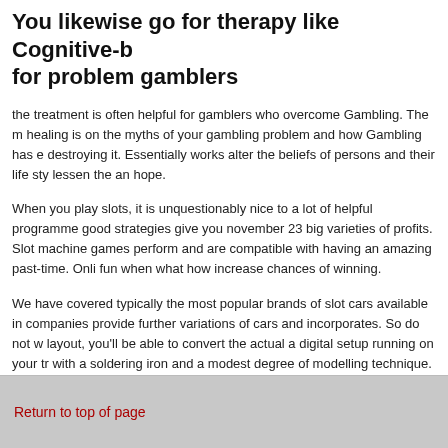You likewise go for therapy like Cognitive-b for problem gamblers
the treatment is often helpful for gamblers who overcome Gambling. The m healing is on the myths of your gambling problem and how Gambling has e destroying it. Essentially works alter the beliefs of persons and their life sty lessen the an hope.
When you play slots, it is unquestionably nice to a lot of helpful programme good strategies give you november 23 big varieties of profits. Slot machine games perform and are compatible with having an amazing past-time. Onli fun when what how increase chances of winning.
We have covered typically the most popular brands of slot cars available in companies provide further variations of cars and incorporates. So do not w layout, you'll be able to convert the actual a digital setup running on your tr with a soldering iron and a modest degree of modelling technique. There a and advice which is found on Forums likewise from slot car participants.
Return to top of page